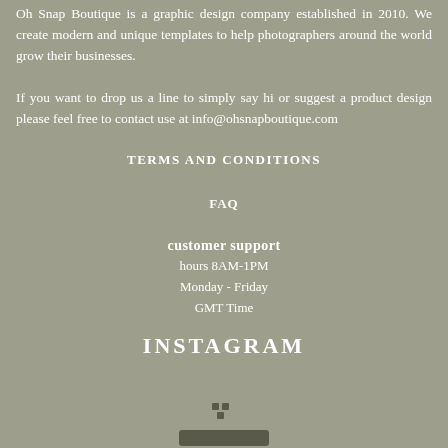Oh Snap Boutique is a graphic design company established in 2010. We create modern and unique templates to help photographers around the world grow their businesses.

If you want to drop us a line to simply say hi or suggest a product design please feel free to contact use at info@ohsnapboutique.com
TERMS AND CONDITIONS
FAQ
customer support
hours 8AM-1PM
Monday - Friday
GMT Time
INSTAGRAM
[Figure (other): Loading spinner icon dots]